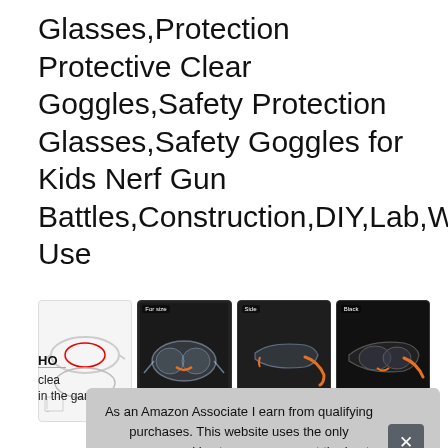Glasses,Protection Protective Clear Goggles,Safety Protection Glasses,Safety Goggles for Kids Nerf Gun Battles,Construction,DIY,Lab,Welding,Chemistry,Personal Use
[Figure (photo): Four product images of safety goggles/glasses: first showing white goggles with red accents on white background with a small chart, second showing clear/orange goggles labeled 'For size' on dark background, third showing clear/orange goggles from side view labeled 'Side' on dark background, fourth showing black/orange goggles labeled 'Black' on dark background.]
As an Amazon Associate I earn from qualifying purchases. This website uses the only necessary cookies to ensure you get the best experience on our website. More information